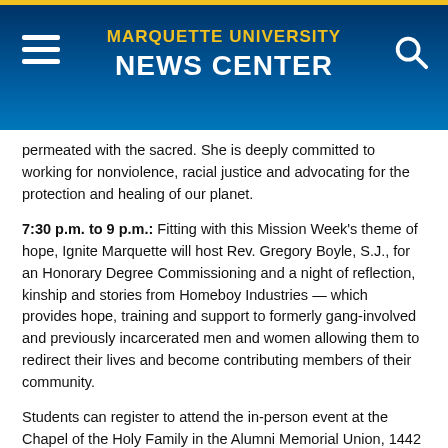MARQUETTE UNIVERSITY NEWS CENTER
permeated with the sacred. She is deeply committed to working for nonviolence, racial justice and advocating for the protection and healing of our planet.
7:30 p.m. to 9 p.m.: Fitting with this Mission Week's theme of hope, Ignite Marquette will host Rev. Gregory Boyle, S.J., for an Honorary Degree Commissioning and a night of reflection, kinship and stories from Homeboy Industries — which provides hope, training and support to formerly gang-involved and previously incarcerated men and women allowing them to redirect their lives and become contributing members of their community.
Students can register to attend the in-person event at the Chapel of the Holy Family in the Alumni Memorial Union, 1442 W. Wisconsin Ave.
Thursday, Feb. 11
11 a.m.: After viewing the film Hungry to Learn, faculty and staff are